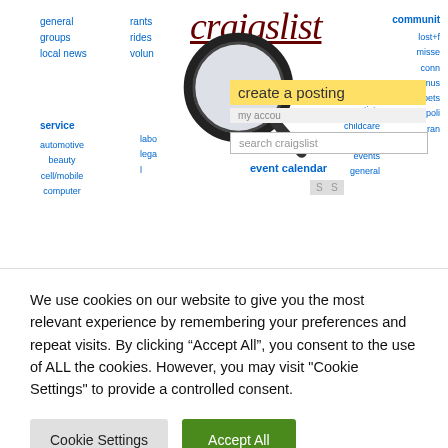[Figure (screenshot): Screenshot of Craigslist website homepage with magnifying glass overlay, showing navigation links, 'create a posting' highlighted in yellow, search box, and various category links]
ALTERNATIF
10 GREATEST WEBSITES LIKE CRAIGSLIST FOR SHOPPING FOR AND PROMOTING USED STUFF
BY JASABACKLINK   1 YEAR AGO
We use cookies on our website to give you the most relevant experience by remembering your preferences and repeat visits. By clicking “Accept All”, you consent to the use of ALL the cookies. However, you may visit "Cookie Settings" to provide a controlled consent.
Cookie Settings   Accept All